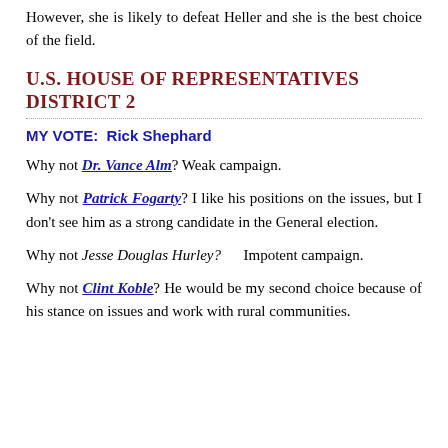However, she is likely to defeat Heller and she is the best choice of the field.
U.S. House of Representatives District 2
MY VOTE:  Rick Shephard
Why not Dr. Vance Alm? Weak campaign.
Why not Patrick Fogarty? I like his positions on the issues, but I don't see him as a strong candidate in the General election.
Why not Jesse Douglas Hurley?  Impotent campaign.
Why not Clint Koble? He would be my second choice because of his stance on issues and work with rural communities.